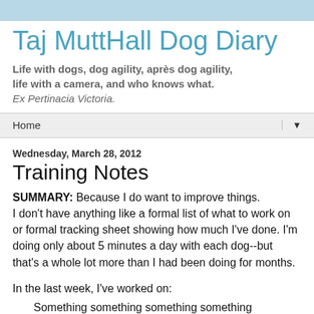Taj MuttHall Dog Diary
Life with dogs, dog agility, après dog agility, life with a camera, and who knows what.
Ex Pertinacia Victoria.
Home
Wednesday, March 28, 2012
Training Notes
SUMMARY: Because I do want to improve things.
I don't have anything like a formal list of what to work on or formal tracking sheet showing how much I've done. I'm doing only about 5 minutes a day with each dog--but that's a whole lot more than I had been doing for months.
In the last week, I've worked on:
Something something something something